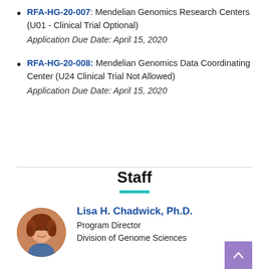RFA-HG-20-007: Mendelian Genomics Research Centers (U01 - Clinical Trial Optional) Application Due Date: April 15, 2020
RFA-HG-20-008: Mendelian Genomics Data Coordinating Center (U24 Clinical Trial Not Allowed) Application Due Date: April 15, 2020
Staff
[Figure (photo): Circular portrait photo of Lisa H. Chadwick, Ph.D., a woman with curly auburn hair]
Lisa H. Chadwick, Ph.D. Program Director Division of Genome Sciences